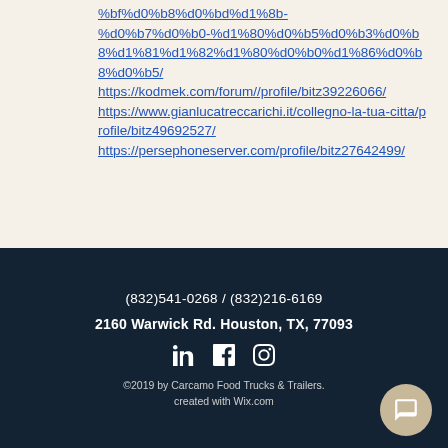%bf%d0%b8%d0%bd%d1%8b-%d0%b7%d0%b0-%d1%80%d0%b5%d0%b3%d0%b8%d1%81%d1%82%d1%80%d0%b0%d1%86%d0%b8%d0%b5/ https://kodmek.com/forum//profile/bitz39226066/ https://www.gianlucatreccarichi.it/collegno-la-tua-citta/profile/bitz49692527/ https://persephoneserver.com/profile/bitz27642499/
(832)541-0268 / (832)216-6169
2160 Warwick Rd. Houston, TX, 77093
©2019 by Carcamo Food Trucks & Trailers. created with Wix.com